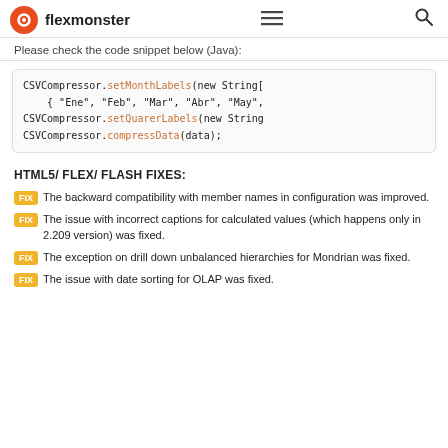flexmonster
Please check the code snippet below (Java):
[Figure (screenshot): Java code snippet showing CSVCompressor.setMonthLabels(new String[ { "Ene", "Feb", "Mar", "Abr", "May", CSVCompressor.setQuarerLabels(new String CSVCompressor.compressData(data);]
HTML5/ FLEX/ FLASH FIXES:
FIX The backward compatibility with member names in configuration was improved.
FIX The issue with incorrect captions for calculated values (which happens only in 2.209 version) was fixed.
FIX The exception on drill down unbalanced hierarchies for Mondrian was fixed.
FIX The issue with date sorting for OLAP was fixed.